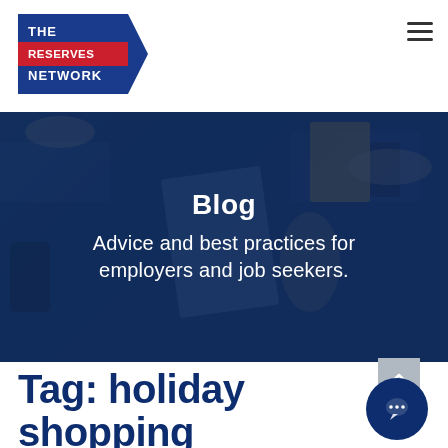[Figure (logo): The Reserves Network logo — blue pentagon/arrow shape with 'THE RESERVES NETWORK' text in white and red bar]
[Figure (photo): Hero banner photo: aerial view of a group of people working at a desk with laptops, keyboards, notebooks, and phones on a dark table. Blue dark overlay tint applied.]
Blog
Advice and best practices for employers and job seekers.
Tag: holiday shopping